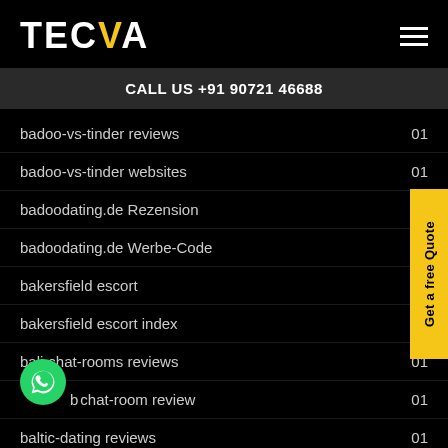TECVA
CALL US +91 90721 46688
badoo-vs-tinder reviews 01
badoo-vs-tinder websites 01
badoodating.de Rezension
badoodating.de Werbe-Code
bakersfield escort
bakersfield escort index
bali-chat-rooms reviews 01
bali-chat-room review 01
baltic-dating reviews 01